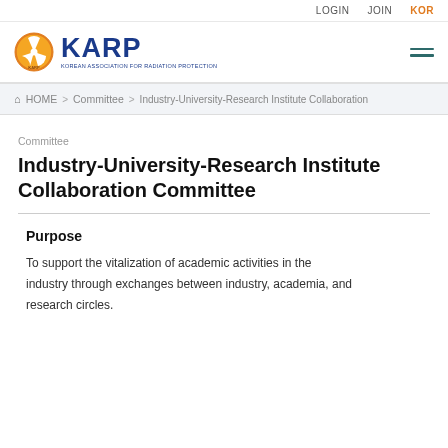LOGIN   JOIN   KOR
[Figure (logo): KARP logo with orange radiation symbol and blue KARP text, subtitle: KOREAN ASSOCIATION FOR RADIATION PROTECTION]
HOME > Committee > Industry-University-Research Institute Collaboration
Committee
Industry-University-Research Institute Collaboration Committee
Purpose
To support the vitalization of academic activities in the industry through exchanges between industry, academia, and research circles.